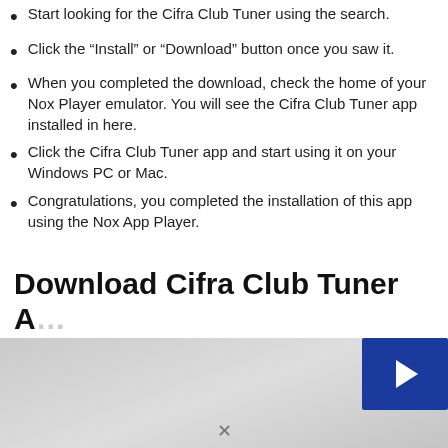Start looking for the Cifra Club Tuner using the search.
Click the “Install” or “Download” button once you saw it.
When you completed the download, check the home of your Nox Player emulator. You will see the Cifra Club Tuner app installed in here.
Click the Cifra Club Tuner app and start using it on your Windows PC or Mac.
Congratulations, you completed the installation of this app using the Nox App Player.
Download Cifra Club Tuner A…
[Figure (screenshot): Partially visible screenshot of app download page with blue play/video button overlay on the right side]